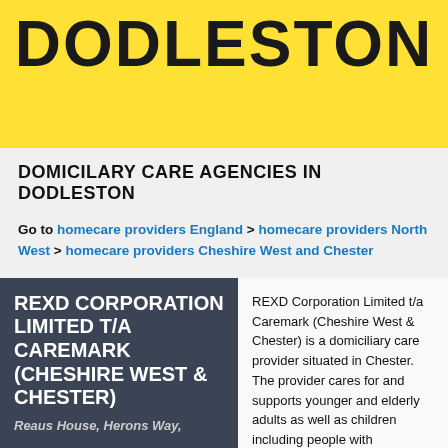DODLESTON
DOMICILARY CARE AGENCIES IN DODLESTON
Go to homecare providers England > homecare providers North West > homecare providers Cheshire West and Chester
REXD CORPORATION LIMITED T/A CAREMARK (CHESHIRE WEST & CHESTER)
Reaus House, Herons Way,
REXD Corporation Limited t/a Caremark (Cheshire West & Chester) is a domiciliary care provider situated in Chester. The provider cares for and supports younger and elderly adults as well as children including people with